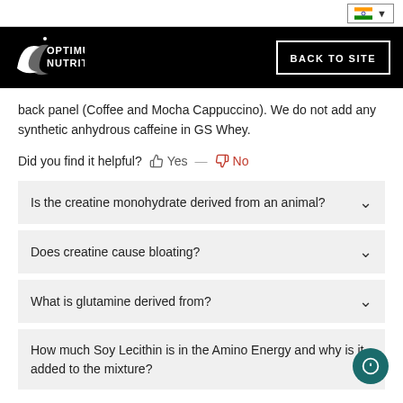Optimum Nutrition — BACK TO SITE
back panel (Coffee and Mocha Cappuccino). We do not add any synthetic anhydrous caffeine in GS Whey.
Did you find it helpful? Yes No
Is the creatine monohydrate derived from an animal?
Does creatine cause bloating?
What is glutamine derived from?
How much Soy Lecithin is in the Amino Energy and why is it added to the mixture?